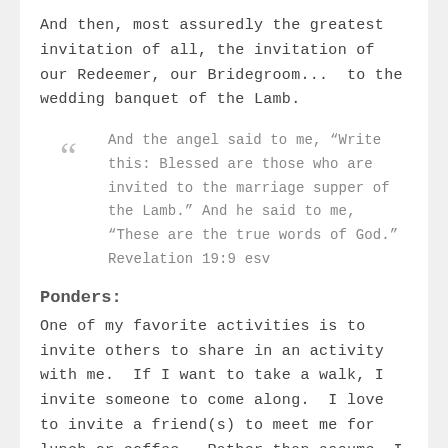And then, most assuredly the greatest invitation of all, the invitation of our Redeemer, our Bridegroom...  to the wedding banquet of the Lamb.
And the angel said to me, “Write this: Blessed are those who are invited to the marriage supper of the Lamb.” And he said to me, “These are the true words of God.”  Revelation 19:9 esv
Ponders:
One of my favorite activities is to invite others to share in an activity with me.  If I want to take a walk, I invite someone to come along.  I love to invite a friend(s) to meet me for lunch or coffee.  Rather than assume, I